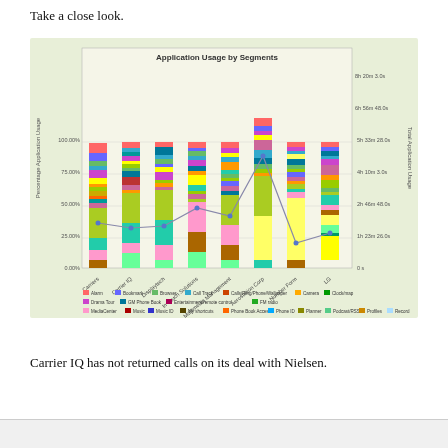Take a close look.
[Figure (stacked-bar-chart): Stacked bar chart showing percentage application usage across multiple carrier/device segments (Carriers, Carrier IQ, Displaytech, In Touch Solutions, Multimedia Management, Aerostation Corp, Number Form, LG), with a line overlay showing Total Application Usage. Legend lists many app categories including Alarm, Bookmark, Browser, Call Track, Calls/Ring/Phone/Wallpaper, Camera, Clock/map, Drama Tour, GM Phone Book, Entertainment/remote control, FM radio, MediaCenter, Music, Music ID, My shortcuts, Phone Book Access, Photo ID, Planner, Podcast/RSS, Profiles, Record sound, Sync, Thomas Change, Video.]
Carrier IQ has not returned calls on its deal with Nielsen.